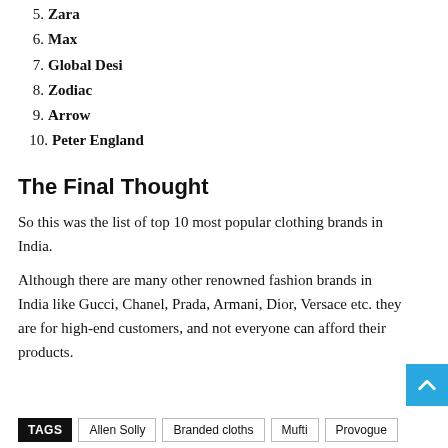5. Zara
6. Max
7. Global Desi
8. Zodiac
9. Arrow
10. Peter England
The Final Thought
So this was the list of top 10 most popular clothing brands in India.
Although there are many other renowned fashion brands in India like Gucci, Chanel, Prada, Armani, Dior, Versace etc. they are for high-end customers, and not everyone can afford their products.
TAGS  Allen Solly  Branded cloths  Mufti  Provogue